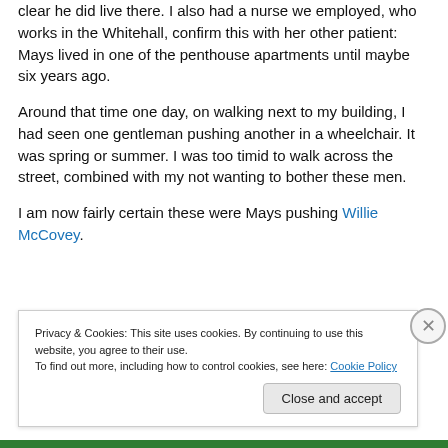clear he did live there. I also had a nurse we employed, who works in the Whitehall, confirm this with her other patient: Mays lived in one of the penthouse apartments until maybe six years ago.
Around that time one day, on walking next to my building, I had seen one gentleman pushing another in a wheelchair. It was spring or summer. I was too timid to walk across the street, combined with my not wanting to bother these men.
I am now fairly certain these were Mays pushing Willie McCovey.
Privacy & Cookies: This site uses cookies. By continuing to use this website, you agree to their use.
To find out more, including how to control cookies, see here: Cookie Policy
Close and accept